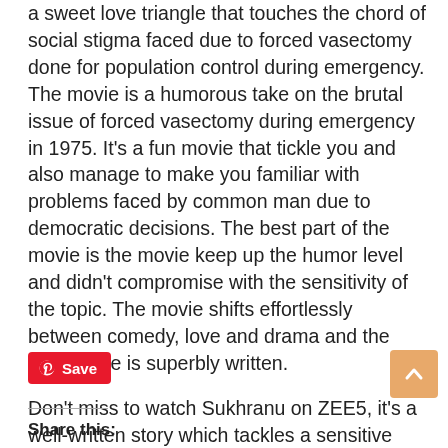a sweet love triangle that touches the chord of social stigma faced due to forced vasectomy done for population control during emergency. The movie is a humorous take on the brutal issue of forced vasectomy during emergency in 1975. It's a fun movie that tickle you and also manage to make you familiar with problems faced by common man due to democratic decisions. The best part of the movie is the movie keep up the humor level and didn't compromise with the sensitivity of the topic. The movie shifts effortlessly between comedy, love and drama and the final scene is superbly written.
Don't miss to watch Sukhranu on ZEE5, it's a well-written story which tackles a sensitive subject in a humorous and much relatable way.
[Figure (other): Pinterest Save button (red rounded rectangle with Pinterest logo and Save text)]
[Figure (other): Scroll to top button (orange/tan rounded square with upward chevron arrow)]
Share this: